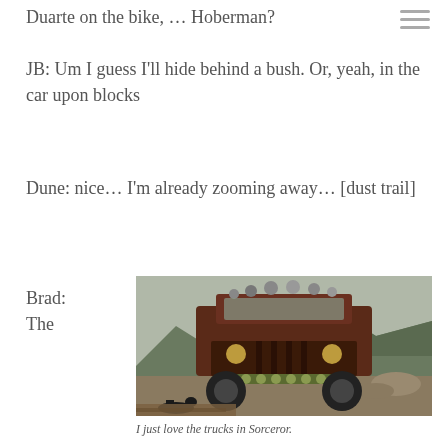Duarte on the bike, … Hoberman?
JB: Um I guess I'll hide behind a bush. Or, yeah, in the car upon blocks
Dune: nice… I'm already zooming away… [dust trail]
Brad:
The
[Figure (photo): A rugged, heavily worn military-style truck with mounted equipment on its roof, driving on a dirt road with mountains in the background. A dog is visible in the lower foreground.]
I just love the trucks in Sorceror.